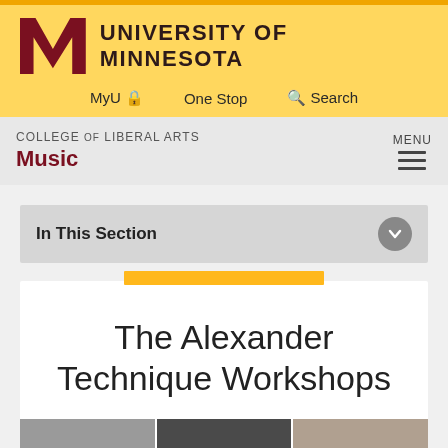University of Minnesota
MyU | One Stop | Search
COLLEGE of LIBERAL ARTS — Music — MENU
In This Section
The Alexander Technique Workshops
[Figure (photo): Three side-by-side photographs at the bottom of the page showing people, partially visible]